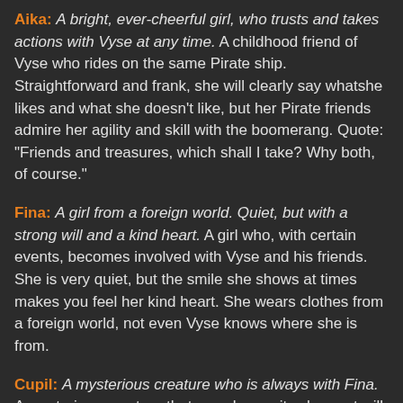Aika: A bright, ever-cheerful girl, who trusts and takes actions with Vyse at any time. A childhood friend of Vyse who rides on the same Pirate ship. Straightforward and frank, she will clearly say whatshe likes and what she doesn't like, but her Pirate friends admire her agility and skill with the boomerang. Quote: "Friends and treasures, which shall I take? Why both, of course."
Fina: A girl from a foreign world. Quiet, but with a strong will and a kind heart. A girl who, with certain events, becomes involved with Vyse and his friends. She is very quiet, but the smile she shows at times makes you feel her kind heart. She wears clothes from a foreign world, not even Vyse knows where she is from.
Cupil: A mysterious creature who is always with Fina. A mysterious creature that can change its shape at will. It appears to be a friend of Fina from her childhood. Normally it is in the shape of a bracelet. But during battles, Cupil...